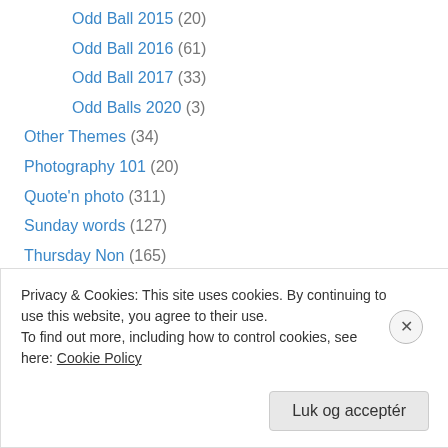Odd Ball 2015 (20)
Odd Ball 2016 (61)
Odd Ball 2017 (33)
Odd Balls 2020 (3)
Other Themes (34)
Photography 101 (20)
Quote'n photo (311)
Sunday words (127)
Thursday Non (165)
Traveling Themes (285)
Unexpected (368)
Weekly Photo (345)
WPC 2013 (39)
Privacy & Cookies: This site uses cookies. By continuing to use this website, you agree to their use. To find out more, including how to control cookies, see here: Cookie Policy